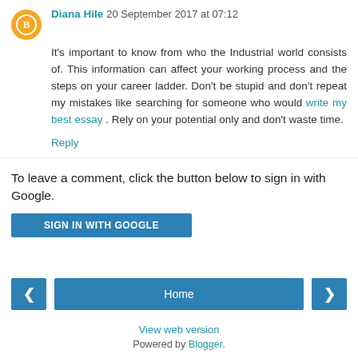Diana Hile 20 September 2017 at 07:12
It's important to know from who the Industrial world consists of. This information can affect your working process and the steps on your career ladder. Don't be stupid and don't repeat my mistakes like searching for someone who would write my best essay . Rely on your potential only and don't waste time.
Reply
To leave a comment, click the button below to sign in with Google.
SIGN IN WITH GOOGLE
Home
View web version
Powered by Blogger.